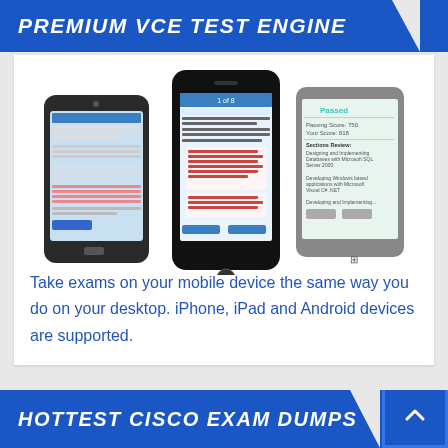PREMIUM VCE TEST ENGINE
[Figure (photo): Three mobile devices (Android smartphone, iPhone, and Windows Phone tablet) displaying exam practice software screens]
Take exams on your mobile device the same way you do on your desktop. iPhone, iPad and Android devices are supported.
HOTTEST CISCO EXAM DUMPS